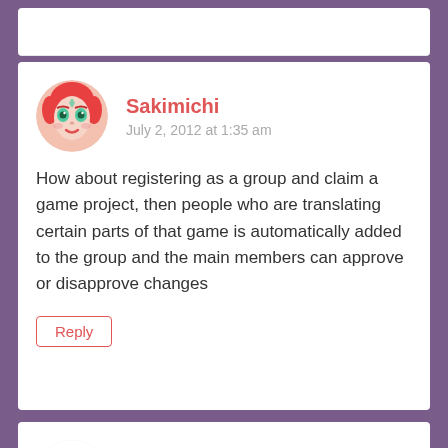Sakimichi
July 2, 2012 at 1:35 am
How about registering as a group and claim a game project, then people who are translating certain parts of that game is automatically added to the group and the main members can approve or disapprove changes
Reply
Zky
July 2, 2012 at 11:41 pm
As a translator I would love to see this kind of program become real. This is exactly the progra